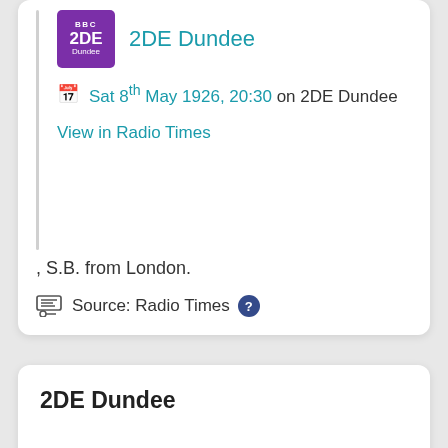[Figure (logo): BBC 2DE Dundee purple logo tile]
2DE Dundee
Sat 8th May 1926, 20:30 on 2DE Dundee
View in Radio Times
, S.B. from London.
Source: Radio Times
2DE Dundee